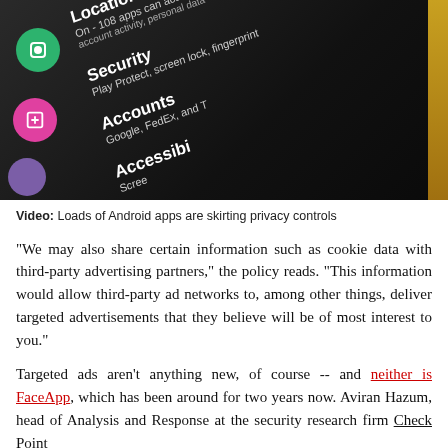[Figure (photo): Close-up photo of a smartphone screen showing Android Settings menu with options: Location (On - 108 apps can access location, account activity, personal data), Security (Play Protect, screen lock, fingerprint), Accounts (Google, FedEx, and T...), Accessibility (Scree...). Green, pink, and purple circular icons visible on left side.]
Video: Loads of Android apps are skirting privacy controls
"We may also share certain information such as cookie data with third-party advertising partners," the policy reads. "This information would allow third-party ad networks to, among other things, deliver targeted advertisements that they believe will be of most interest to you."
Targeted ads aren't anything new, of course -- and neither is FaceApp, which has been around for two years now. Aviran Hazum, head of Analysis and Response at the security research firm Check Point Research, tells CNET that he didn't find anything...